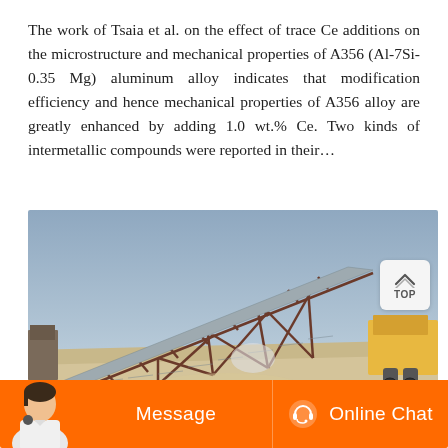The work of Tsaia et al. on the effect of trace Ce additions on the microstructure and mechanical properties of A356 (Al-7Si-0.35 Mg) aluminum alloy indicates that modification efficiency and hence mechanical properties of A356 alloy are greatly enhanced by adding 1.0 wt.% Ce. Two kinds of intermetallic compounds were reported in their…
[Figure (photo): Industrial conveyor belt structure at a mining or construction site. A long diagonal conveyor belt supported by a red/maroon steel truss frame extends from lower left to upper right. A yellow heavy machinery vehicle is visible on the right. Sandy terrain and blue sky in the background.]
[Figure (screenshot): Orange chat bar at the bottom with a customer service person on the left, a 'Message' button in the center-left, and an 'Online Chat' button with headset icon on the right.]